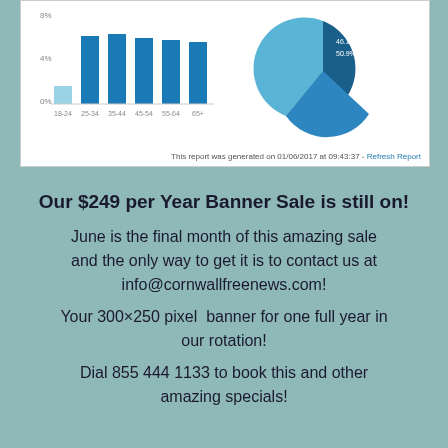[Figure (screenshot): Top portion of a web analytics report page showing a bar chart (age demographics) on the left and a pie chart on the right, with a footer line reading 'This report was generated on 01/06/2017 at 09:43:37 - Refresh Report']
Our $249 per Year Banner Sale is still on!
June is the final month of this amazing sale and the only way to get it is to contact us at info@cornwallfreenews.com!
Your 300×250 pixel  banner for one full year in our rotation!
Dial 855 444 1133 to book this and other amazing specials!